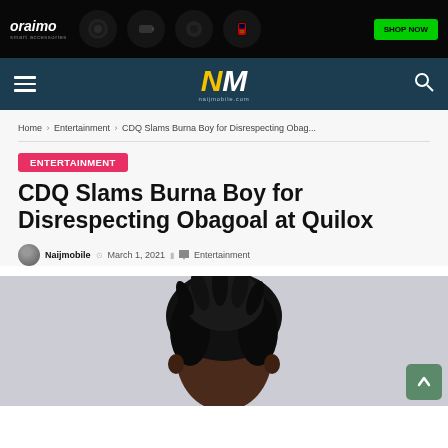[Figure (photo): Oraimo smart accessories advertisement banner showing earbuds, power bank, earphones, smartwatch with SHOP NOW button on black background]
NM naijmobile.com — navigation bar with hamburger menu and search icon
Home › Entertainment › CDQ Slams Burna Boy for Disrespecting Obag...
ENTERTAINMENT
CDQ Slams Burna Boy for Disrespecting Obagoal at Quilox
Naijmobile · March 1, 2021 · Entertainment
[Figure (photo): Photo of CDQ (Nigerian rapper) showing his head with dreadlocks against a light grey background]